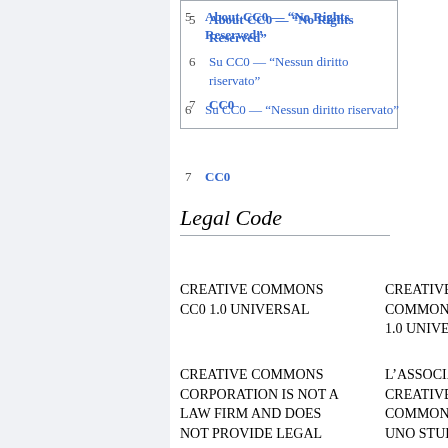5   About CC0 — “No Rights Reserved”
6   Su CC0 — “Nessun diritto riservato”
7   CC0
Legal Code
CREATIVE COMMONS CC0 1.0 UNIVERSAL
CREATIVE COMMONS C... 1.0 UNIVERSA...
CREATIVE COMMONS CORPORATION IS NOT A LAW FIRM AND DOES NOT PROVIDE LEGAL
L’ASSOCIAZIO... CREATIVE COMMONS N... UNO STUDIO...